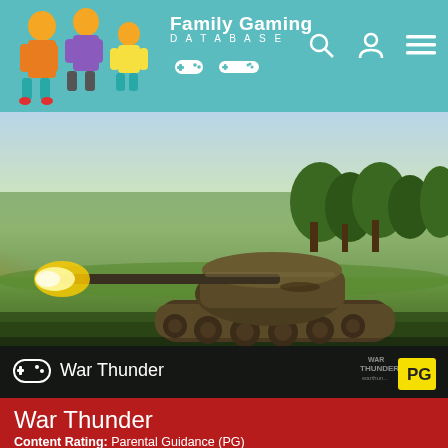Family Gaming DATABASE
[Figure (screenshot): War Thunder tank game screenshot showing a military tank firing in a green field landscape with trees and sunset glow. Dark image bar at bottom shows game name 'War Thunder' with controller icon and PG rating badge.]
War Thunder
Content Rating: Parental Guidance (PG)
Skill Rating: 12+ year-olds
Release Date: 21/12/2016, updated in 2018
Platforms: Mac, PC, PS4, PS5, Xbox One and Xbox Series X|S
Genres: Open World, Shooting, Simulation and Strategy
Developer: Gaijin Ent (@GaijinEnt)
Players: You can play this by yourself or as a 16-player